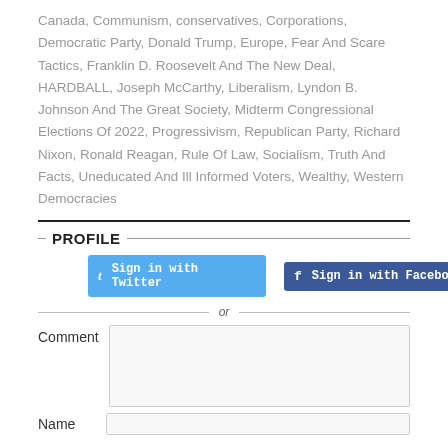Canada, Communism, conservatives, Corporations, Democratic Party, Donald Trump, Europe, Fear And Scare Tactics, Franklin D. Roosevelt And The New Deal, HARDBALL, Joseph McCarthy, Liberalism, Lyndon B. Johnson And The Great Society, Midterm Congressional Elections Of 2022, Progressivism, Republican Party, Richard Nixon, Ronald Reagan, Rule Of Law, Socialism, Truth And Facts, Uneducated And Ill Informed Voters, Wealthy, Western Democracies
PROFILE
Sign in with Twitter
Sign in with Facebook
or
Comment
Name